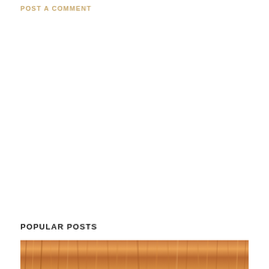POST A COMMENT
POPULAR POSTS
[Figure (photo): Partial view of a warmly toned wood-grain or hair texture photo strip at the bottom of the page]